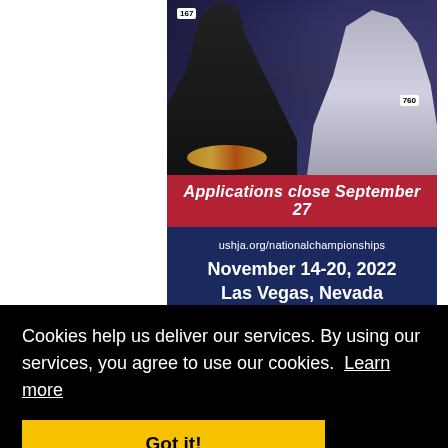[Figure (photo): Advertisement for USHJA National Championships showing equestrian riders on horses jumping, with bib numbers 167 and 760 visible. Red banner reads 'Applications close September 27'. Navy blue section shows website ushja.org/nationalchampionships and event dates November 14-20, 2022, Las Vegas, Nevada.]
Cookies help us deliver our services. By using our services, you agree to use our cookies. Learn more
Got it!
k And
Sep 5, 2022 - 11:29 AM